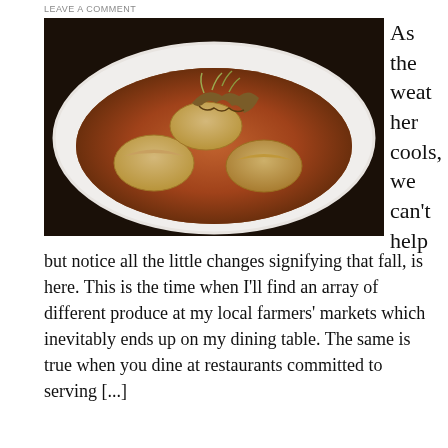LEAVE A COMMENT
[Figure (photo): A white square bowl containing dumplings or ravioli in a brown broth, garnished with mushrooms and sprouts, photographed from above.]
As the weather cools, we can't help but notice all the little changes signifying that fall, is here. This is the time when I'll find an array of different produce at my local farmers' markets which inevitably ends up on my dining table. The same is true when you dine at restaurants committed to serving [...]